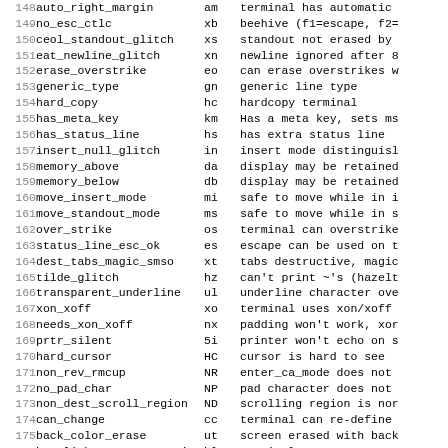| # | name | code | description |
| --- | --- | --- | --- |
| 148 | auto_right_margin | am | terminal has automatic |
| 149 | no_esc_ctlc | xb | beehive (f1=escape, f2= |
| 150 | ceol_standout_glitch | xs | standout not erased by |
| 151 | eat_newline_glitch | xn | newline ignored after 8 |
| 152 | erase_overstrike | eo | can erase overstrikes w |
| 153 | generic_type | gn | generic line type |
| 154 | hard_copy | hc | hardcopy terminal |
| 155 | has_meta_key | km | Has a meta key, sets ms |
| 156 | has_status_line | hs | has extra status line |
| 157 | insert_null_glitch | in | insert mode distinguisl |
| 158 | memory_above | da | display may be retained |
| 159 | memory_below | db | display may be retained |
| 160 | move_insert_mode | mi | safe to move while in i |
| 161 | move_standout_mode | ms | safe to move while in s |
| 162 | over_strike | os | terminal can overstrike |
| 163 | status_line_esc_ok | es | escape can be used on t |
| 164 | dest_tabs_magic_smso | xt | tabs destructive, magic |
| 165 | tilde_glitch | hz | can't print ~'s (hazelt |
| 166 | transparent_underline | ul | underline character ove |
| 167 | xon_xoff | xo | terminal uses xon/xoff |
| 168 | needs_xon_xoff | nx | padding won't work, xor |
| 169 | prtr_silent | 5i | printer won't echo on s |
| 170 | hard_cursor | HC | cursor is hard to see |
| 171 | non_rev_rmcup | NR | enter_ca_mode does not |
| 172 | no_pad_char | NP | pad character does not |
| 173 | non_dest_scroll_region | ND | scrolling region is nor |
| 174 | can_change | cc | terminal can re-define |
| 175 | back_color_erase | ut | screen erased with back |
| 176 | hue_lightness_saturation | hl | terminal uses c |
| 177 |  |  | notation (tektr |
| 178 | col_addr_glitch | YA | only positive motion fo |
| 179 |  |  | micro column address |